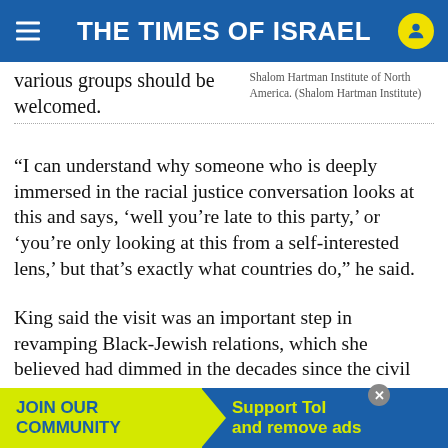THE TIMES OF ISRAEL
various groups should be welcomed.
Shalom Hartman Institute of North America. (Shalom Hartman Institute)
“I can understand why someone who is deeply immersed in the racial justice conversation looks at this and says, ‘well you’re late to this party,’ or ‘you’re only looking at this from a self-interested lens,’ but that’s exactly what countries do,” he said.
King said the visit was an important step in revamping Black-Jewish relations, which she believed had dimmed in the decades since the civil rights movement. She compared what she said were misunderstandings around calls for Israel to return the Go... Israel,... are
[Figure (other): Advertisement banner: JOIN OUR COMMUNITY | Support ToI and remove ads]